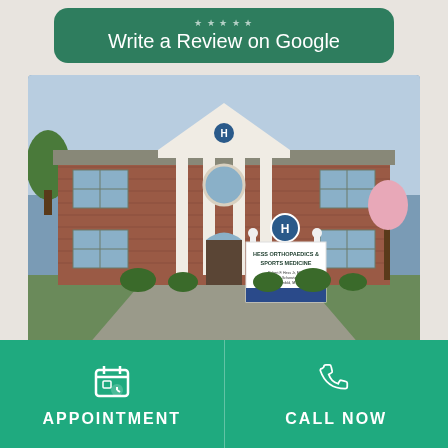Write a Review on Google
[Figure (photo): Exterior photo of Hess Orthopaedics & Sports Medicine building — a two-story red brick colonial-style medical office with white columns and a sign in front reading 'Hess Orthopaedics & Sports Medicine']
APPOINTMENT
CALL NOW